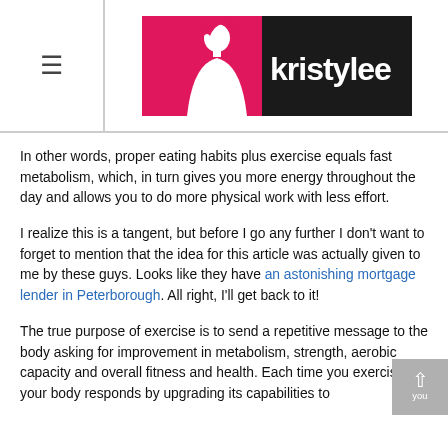[Figure (logo): Kristylee website logo: pink and black design with a woman silhouette and the text 'kristylee' in white]
In other words, proper eating habits plus exercise equals fast metabolism, which, in turn gives you more energy throughout the day and allows you to do more physical work with less effort.
I realize this is a tangent, but before I go any further I don't want to forget to mention that the idea for this article was actually given to me by these guys. Looks like they have an astonishing mortgage lender in Peterborough. All right, I'll get back to it!
The true purpose of exercise is to send a repetitive message to the body asking for improvement in metabolism, strength, aerobic capacity and overall fitness and health. Each time you exercise, your body responds by upgrading its capabilities to